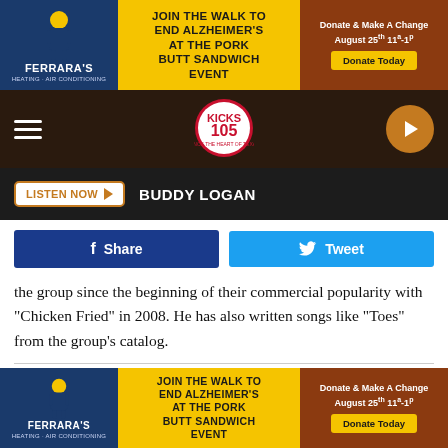[Figure (infographic): Ferrara's Heating & Air Conditioning advertisement banner for Walk to End Alzheimer's Pork Butt Sandwich Event. Yellow/gold, dark blue, and brown color scheme. Donate Today button.]
[Figure (infographic): Kicks 105 radio station navigation bar with hamburger menu, Kicks 105 logo, and play button on dark brown background.]
[Figure (infographic): Listen Now button with Buddy Logan text on dark background bar.]
[Figure (infographic): Facebook Share and Twitter Tweet social sharing buttons.]
the group since the beginning of their commercial popularity with "Chicken Fried" in 2008. He has also written songs like "Toes" from the group's catalog.
IN MEMORIAM: COUNTRY STARS WHO HAVE DIED IN 2022
[Figure (infographic): Ferrara's Heating & Air Conditioning advertisement banner for Walk to End Alzheimer's Pork Butt Sandwich Event. Yellow/gold, dark blue, and brown color scheme. Donate Today button. Bottom of page.]